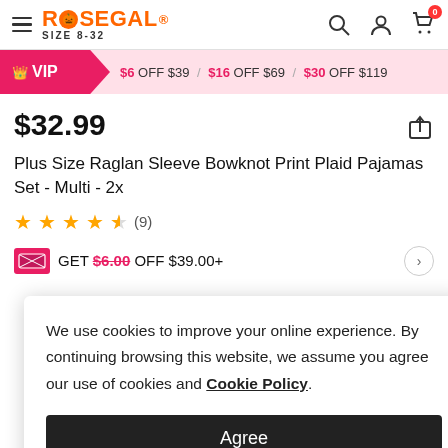ROSEGAL SIZE 8-32
$6 OFF $39 / $16 OFF $69 / $30 OFF $119
$32.99
Plus Size Raglan Sleeve Bowknot Print Plaid Pajamas Set - Multi - 2x
★★★★½ (9)
GET $6.00 OFF $39.00+
We use cookies to improve your online experience. By continuing browsing this website, we assume you agree our use of cookies and Cookie Policy.
Agree